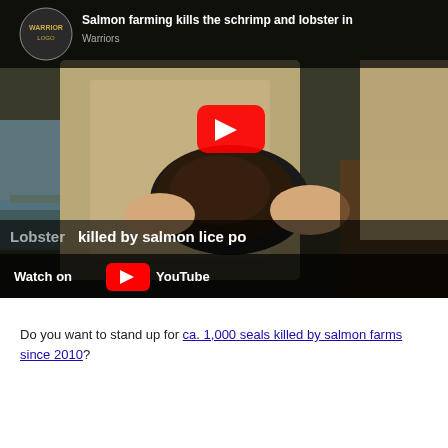[Figure (screenshot): YouTube video thumbnail showing a person in khaki clothing holding a lobster. Video title reads 'Salmon farming kills the schrimp and lobster in...' with channel 'Warriors'. A red YouTube play button is centered on the image. Bottom bar shows 'Watch on YouTube' and subtitle text 'Lobster killed by salmon lice po...']
Do you want to stand up for ca. 1,000 seals killed by salmon farms since 2010?